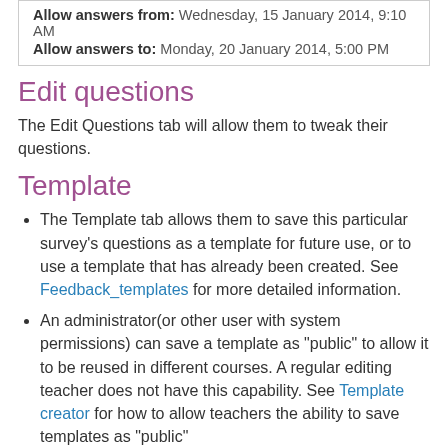| Allow answers from: Wednesday, 15 January 2014, 9:10 AM |
| Allow answers to: Monday, 20 January 2014, 5:00 PM |
Edit questions
The Edit Questions tab will allow them to tweak their questions.
Template
The Template tab allows them to save this particular survey's questions as a template for future use, or to use a template that has already been created. See Feedback_templates for more detailed information.
An administrator(or other user with system permissions) can save a template as "public" to allow it to be reused in different courses. A regular editing teacher does not have this capability. See Template creator for how to allow teachers the ability to save templates as "public"